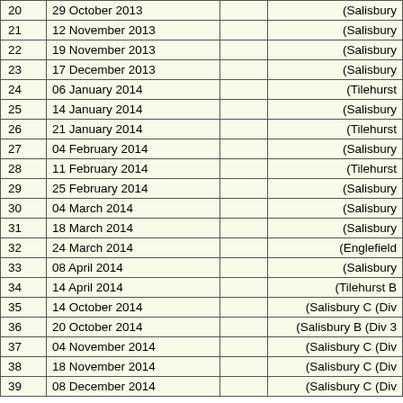| # | Date |  | Venue |
| --- | --- | --- | --- |
| 20 | 29 October 2013 |  | (Salisbury |
| 21 | 12 November 2013 |  | (Salisbury |
| 22 | 19 November 2013 |  | (Salisbury |
| 23 | 17 December 2013 |  | (Salisbury |
| 24 | 06 January 2014 |  | (Tilehurst |
| 25 | 14 January 2014 |  | (Salisbury |
| 26 | 21 January 2014 |  | (Tilehurst |
| 27 | 04 February 2014 |  | (Salisbury |
| 28 | 11 February 2014 |  | (Tilehurst |
| 29 | 25 February 2014 |  | (Salisbury |
| 30 | 04 March 2014 |  | (Salisbury |
| 31 | 18 March 2014 |  | (Salisbury |
| 32 | 24 March 2014 |  | (Englefield |
| 33 | 08 April 2014 |  | (Salisbury |
| 34 | 14 April 2014 |  | (Tilehurst B |
| 35 | 14 October 2014 |  | (Salisbury C (Div |
| 36 | 20 October 2014 |  | (Salisbury B (Div 3 |
| 37 | 04 November 2014 |  | (Salisbury C (Div |
| 38 | 18 November 2014 |  | (Salisbury C (Div |
| 39 | 08 December 2014 |  | (Salisbury C (Div |